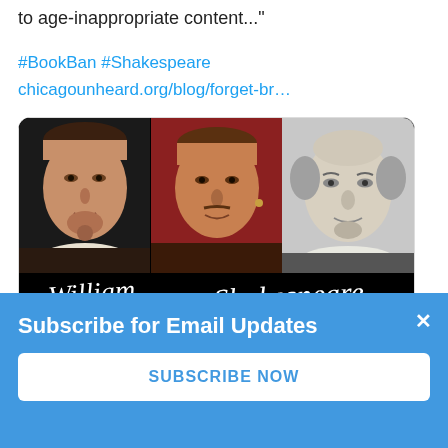to age-inappropriate content..."
#BookBan #Shakespeare
chicagounheard.org/blog/forget-br…
[Figure (screenshot): Tweet card showing three portrait paintings of Shakespeare side by side on a black background, with a cursive signature 'William Shakespeare' below, and a link card showing chicagounheard.org and truncated title 'Forget Bruno, We Need to Talk About']
chicagounheard.org
Forget Bruno, We Need to Talk About
Subscribe for Email Updates
SUBSCRIBE NOW